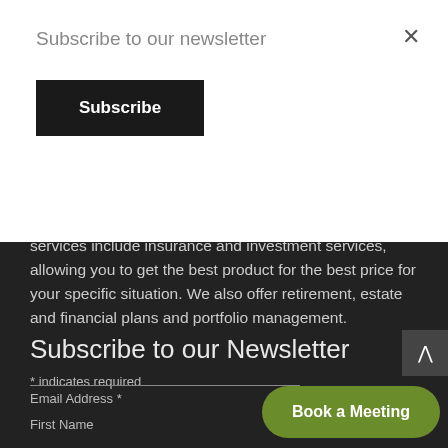Subscribe to our newsletter
Subscribe
them achieve their financial goals. Our personal services include insurance and investment services, allowing you to get the best product for the best price for your specific situation. We also offer retirement, estate and financial plans and portfolio management.
Subscribe to our Newsletter
* indicates required
Email Address *
First Name
Book a Meeting